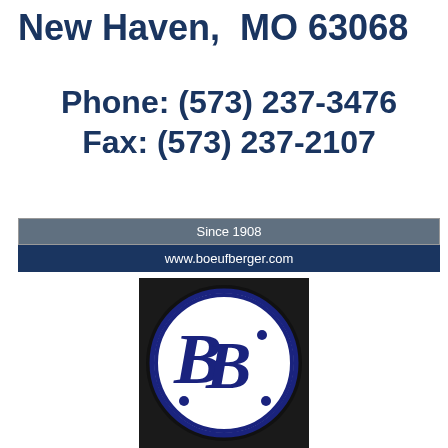New Haven,  MO 63068
Phone: (573) 237-3476
Fax: (573) 237-2107
Since 1908
www.boeufberger.com
[Figure (logo): Boeufberger company circular logo with interlocking letters on dark background]